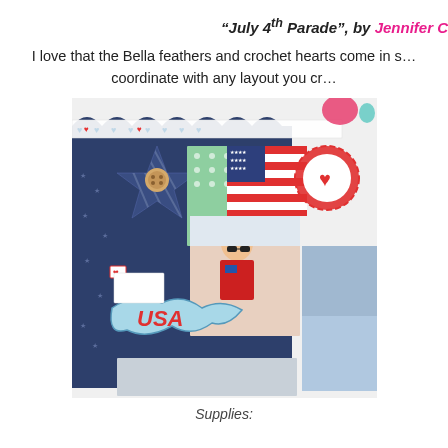“July 4th Parade”, by Jennifer C
I love that the Bella feathers and crochet hearts come in s… coordinate with any layout you cr…
[Figure (photo): Close-up photo of a patriotic scrapbook layout featuring USA die-cut, star embellishment with button, American flag papers, hearts, washi tape with hearts and dots, and photos of a young child at a July 4th parade wearing sunglasses and a red shirt.]
Supplies: